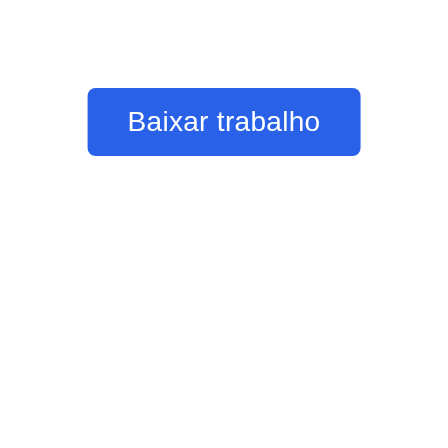[Figure (other): A blue rounded rectangle button with white text reading 'Baixar trabalho' (Portuguese for 'Download work'), positioned in the upper-center area of the page.]